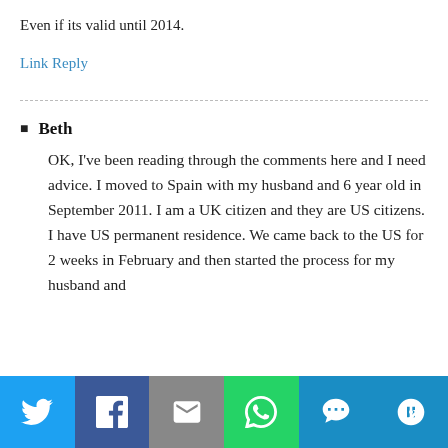Even if its valid until 2014.
Link Reply
Beth
OK, I've been reading through the comments here and I need advice. I moved to Spain with my husband and 6 year old in September 2011. I am a UK citizen and they are US citizens. I have US permanent residence. We came back to the US for 2 weeks in February and then started the process for my husband and